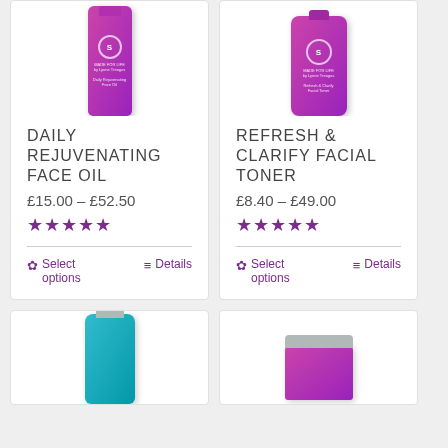[Figure (photo): Daily Rejuvenating Face Oil product photo - fuchsia/purple bottle with Made For Life branding]
DAILY REJUVENATING FACE OIL
£15.00 – £52.50
★★★★★
Select options   Details
[Figure (photo): Refresh & Clarify Facial Toner product photo - fuchsia/purple rounded bottle with Made For Life branding]
REFRESH & CLARIFY FACIAL TONER
£8.40 – £49.00
★★★★★
Select options   Details
[Figure (photo): Partial product photo - teal/turquoise bottle partially visible at bottom of page]
[Figure (photo): Partial product photo - purple jar with silver lid partially visible at bottom of page]